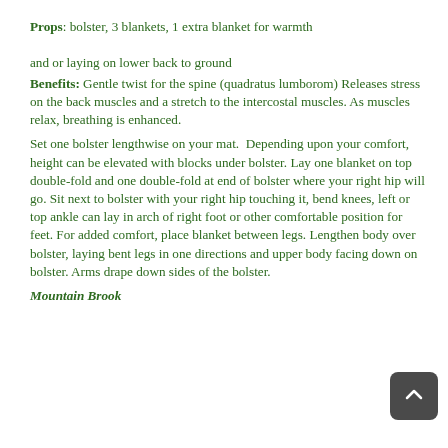Props: bolster, 3 blankets, 1 extra blanket for warmth and or laying on lower back to ground
Benefits: Gentle twist for the spine (quadratus lumborom) Releases stress on the back muscles and a stretch to the intercostal muscles. As muscles relax, breathing is enhanced.
Set one bolster lengthwise on your mat. Depending upon your comfort, height can be elevated with blocks under bolster. Lay one blanket on top double-fold and one double-fold at end of bolster where your right hip will go. Sit next to bolster with your right hip touching it, bend knees, left or top ankle can lay in arch of right foot or other comfortable position for feet. For added comfort, place blanket between legs. Lengthen body over bolster, laying bent legs in one directions and upper body facing down on bolster. Arms drape down sides of the bolster.
Mountain Brook